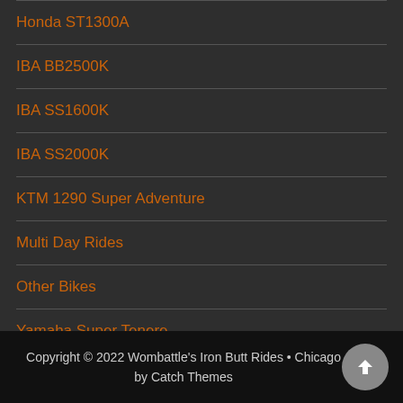Honda ST1300A
IBA BB2500K
IBA SS1600K
IBA SS2000K
KTM 1290 Super Adventure
Multi Day Rides
Other Bikes
Yamaha Super Tenere
Copyright © 2022 Wombattle's Iron Butt Rides • Chicago by Catch Themes